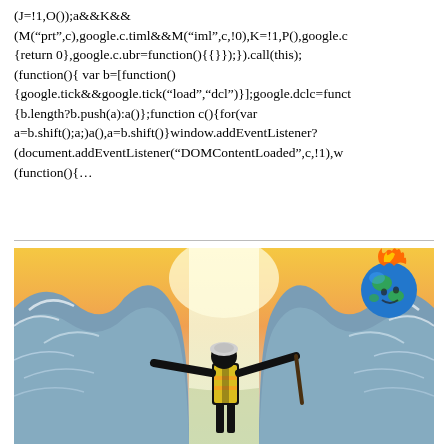(J=!1,O());a&&K&&(M("prt",c),google.c.timl&&M("iml",c,!0),K=!1,P(),google.c{return 0},google.c.ubr=function(){});}).call(this);(function(){ var b=[function(){google.tick&&google.tick("load","dcl")];google.dclc=funct{b.length?b.push(a):a()};function c(){for(var a=b.shift();a;)a(),a=b.shift()}window.addEventListener?(document.addEventListener("DOMContentLoaded",c,!1),w(function(){...
[Figure (illustration): Illustrated image of a construction worker in a yellow high-visibility vest and hard hat, arms outstretched, standing between two large parted waves like Moses parting the sea, with a bright light in the background and a cartoon flaming Earth globe in the upper right corner.]